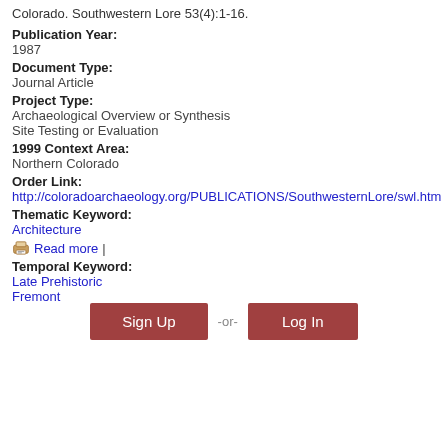Colorado. Southwestern Lore 53(4):1-16.
Publication Year:
1987
Document Type:
Journal Article
Project Type:
Archaeological Overview or Synthesis
Site Testing or Evaluation
1999 Context Area:
Northern Colorado
Order Link:
http://coloradoarchaeology.org/PUBLICATIONS/SouthwesternLore/swl.htm
Thematic Keyword:
Architecture
Read more |
Temporal Keyword:
Late Prehistoric
Fremont